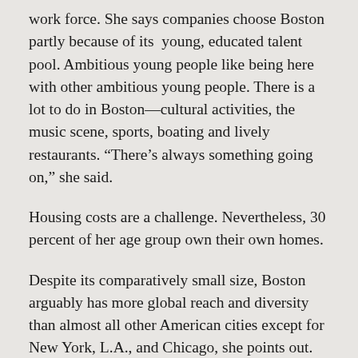work force. She says companies choose Boston partly because of its young, educated talent pool. Ambitious young people like being here with other ambitious young people. There is a lot to do in Boston—cultural activities, the music scene, sports, boating and lively restaurants. “There’s always something going on,” she said.
Housing costs are a challenge. Nevertheless, 30 percent of her age group own their own homes.
Despite its comparatively small size, Boston arguably has more global reach and diversity than almost all other American cities except for New York, L.A., and Chicago, she points out.
Chloe believes her contemporaries plan to stay for a long time. “I haven’t heard too many people itching to move to the suburbs,” she said.